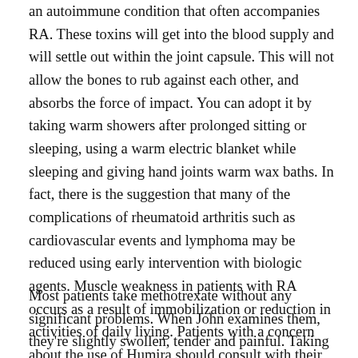an autoimmune condition that often accompanies RA. These toxins will get into the blood supply and will settle out within the joint capsule. This will not allow the bones to rub against each other, and absorbs the force of impact. You can adopt it by taking warm showers after prolonged sitting or sleeping, using a warm electric blanket while sleeping and giving hand joints warm wax baths. In fact, there is the suggestion that many of the complications of rheumatoid arthritis such as cardiovascular events and lymphoma may be reduced using early intervention with biologic agents. Muscle weakness in patients with RA occurs as a result of immobilization or reduction in activities of daily living. Patients with a concern about the use of Humira should consult with their health care provider.
Most patients take methotrexate without any significant problems. When John examines them, they're slightly swollen, tender and painful. Taking a high dose for prolonged periods has